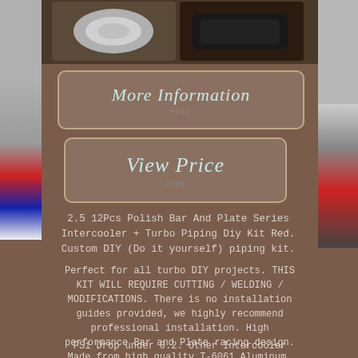[Figure (photo): Product photo of polished intercooler and turbo piping kit components]
[Figure (other): More Information button with eBay branding]
[Figure (other): View Price button with eBay branding]
2.5 12Pcs Polish Bar And Plate Series Intercooler + Turbo Piping Diy Kit Red. Custom DIY (Do it yourself) piping kit.
Perfect for all turbo DIY projects. THIS KIT WILL REQUIRE CUTTING / WELDING / MODIFICATIONS. There is no installation guides provided, we highly recommend professional installation. High performance Bar and Plate racing design. Made from high quality T-6061 Aluminum.
PSi Drop under 0.2. Other Intercooler